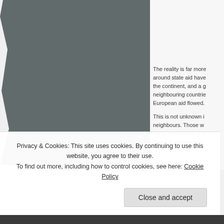[Figure (photo): A large photograph or illustration occupying the left portion of the page, showing a dark grey torn-edge image panel.]
The reality is far more complex. Debates around state aid have taken place across the continent, and a growing number of neighbouring countries have seen how European aid flowed.
This is not unknown in the eyes of its neighbours. Those who see its effects either at home or in Europe find a tension which is expressed g
Privacy & Cookies: This site uses cookies. By continuing to use this website, you agree to their use.
To find out more, including how to control cookies, see here: Cookie Policy
Close and accept